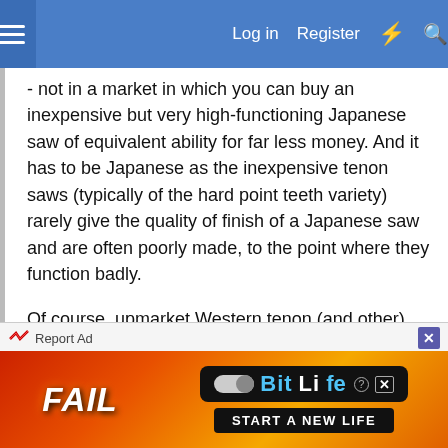Log in  Register
- not in a market in which you can buy an inexpensive but very high-functioning Japanese saw of equivalent ability for far less money. And it has to be Japanese as the inexpensive tenon saws (typically of the hard point teeth variety) rarely give the quality of finish of a Japanese saw and are often poorly made, to the point where they function badly.
Of course, upmarket Western tenon (and other) saws are nice to have and use, so buy one if the reasons for buying are greater than, "Does it work well and cost the least to get the required degree of ability". No one needs a Skelton saw but they must be very nice indeed to have.
[Figure (screenshot): BitLife advertisement banner with 'FAIL' text and 'START A NEW LIFE' tagline on a red/orange fiery background]